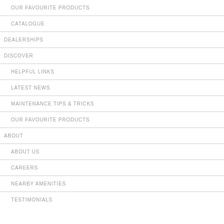OUR FAVOURITE PRODUCTS
CATALOGUE
DEALERSHIPS
DISCOVER
HELPFUL LINKS
LATEST NEWS
MAINTENANCE TIPS & TRICKS
OUR FAVOURITE PRODUCTS
ABOUT
ABOUT US
CAREERS
NEARBY AMENITIES
TESTIMONIALS